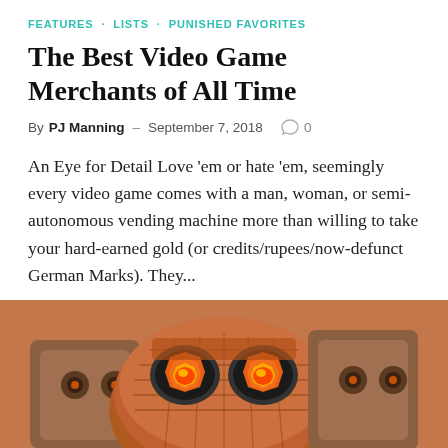FEATURES · LISTS · PUNISHED FAVORITES
The Best Video Game Merchants of All Time
By PJ Manning – September 7, 2018  ○ 0
An Eye for Detail Love 'em or hate 'em, seemingly every video game comes with a man, woman, or semi-autonomous vending machine more than willing to take your hard-earned gold (or credits/rupees/now-defunct German Marks). They...
READ MORE
[Figure (photo): Close-up illustration of a creature/mask with large glowing orange eyes with octagonal pupils, orange and black patterned face, set against a warm orange-brown background. The image appears to be video game art.]